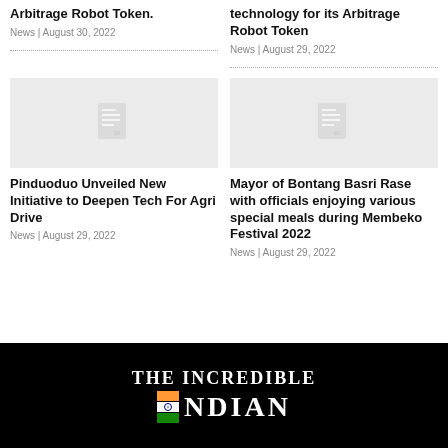Arbitrage Robot Token.
News | August 30, 2022
technology for its Arbitrage Robot Token
News | August 29, 2022
[Figure (photo): Placeholder thumbnail image left]
[Figure (photo): Placeholder thumbnail image right]
Pinduoduo Unveiled New Initiative to Deepen Tech For Agri Drive
News | August 29, 2022
Mayor of Bontang Basri Rase with officials enjoying various special meals during Membeko Festival 2022
News | August 29, 2022
[Figure (logo): The Incredible Indian logo on black background]